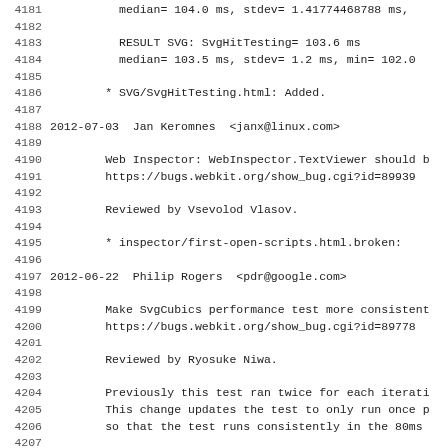Source code / changelog viewer showing lines 4181-4212 of a WebKit ChangeLog file. Contains commit entries for 2012-07-03 Jan Keromnes and 2012-06-22 Philip Rogers with SVG performance test result data.